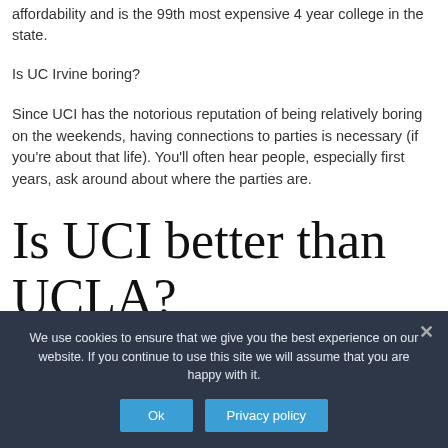affordability and is the 99th most expensive 4 year college in the state.
Is UC Irvine boring?
Since UCI has the notorious reputation of being relatively boring on the weekends, having connections to parties is necessary (if you're about that life). You'll often hear people, especially first years, ask around about where the parties are.
Is UCI better than UCLA?
We use cookies to ensure that we give you the best experience on our website. If you continue to use this site we will assume that you are happy with it.